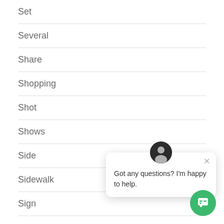Set
Several
Share
Shopping
Shot
Shows
Side
Sidewalk
Sign
Signal
Silicon
[Figure (screenshot): Chat popup widget with avatar showing 'Got any questions? I'm happy to help.' message and a green chat button in the bottom right corner]